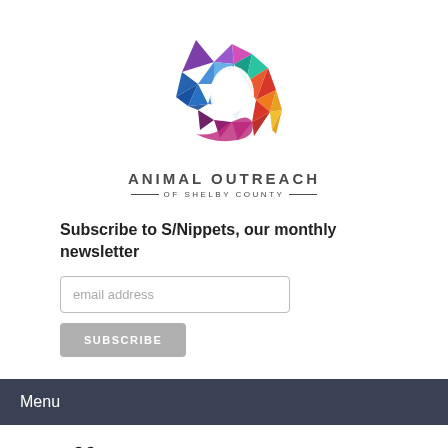[Figure (logo): Animal Outreach of Shelby County colorful geometric cat logo with multi-colored polygon design forming a cat silhouette in blues, purples, reds, oranges, and yellows]
ANIMAL OUTREACH
— OF SHELBY COUNTY —
Subscribe to S/Nippets, our monthly newsletter
email address
SUBSCRIBE
Menu
Staff